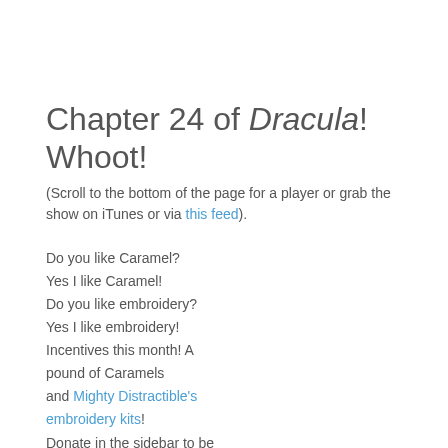Chapter 24 of Dracula! Whoot!
(Scroll to the bottom of the page for a player or grab the show on iTunes or via this feed).
Do you like Caramel?
Yes I like Caramel!
Do you like embroidery?
Yes I like embroidery!
Incentives this month! A pound of Caramels and Mighty Distractible's embroidery kits!
Donate in the sidebar to be put into the drawing!